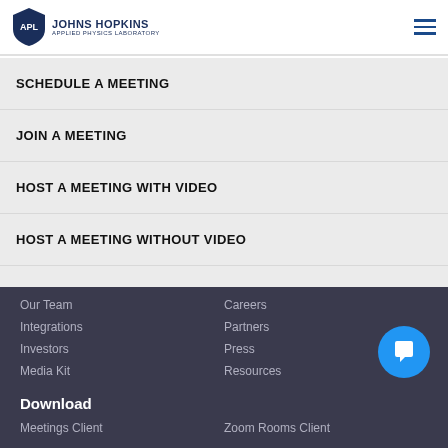Johns Hopkins Applied Physics Laboratory
SCHEDULE A MEETING
JOIN A MEETING
HOST A MEETING WITH VIDEO
HOST A MEETING WITHOUT VIDEO
SIGN IN
SIGN UP FREE
Our Team  Careers  Integrations  Partners  Investors  Press  Media Kit  Resources  Download  Meetings Client  Zoom Rooms Client